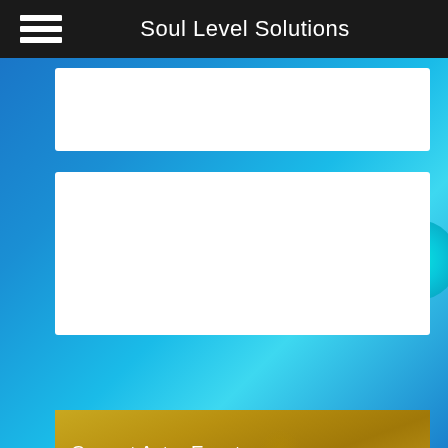Soul Level Solutions
[Figure (other): Blue ocean water background spanning the full page]
Read Next
Current Astro Events - August 27, 2021
We are turning a corner this week as